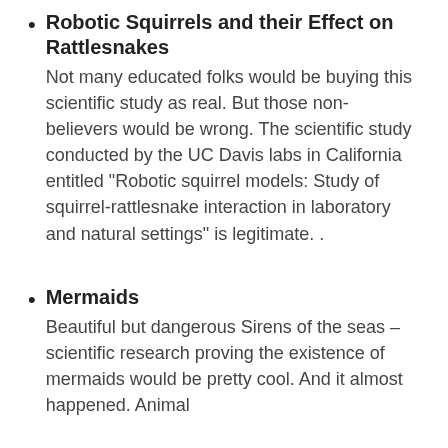Robotic Squirrels and their Effect on Rattlesnakes
Not many educated folks would be buying this scientific study as real. But those non-believers would be wrong. The scientific study conducted by the UC Davis labs in California entitled "Robotic squirrel models: Study of squirrel-rattlesnake interaction in laboratory and natural settings" is legitimate. .
Mermaids
Beautiful but dangerous Sirens of the seas – scientific research proving the existence of mermaids would be pretty cool. And it almost happened. Animal